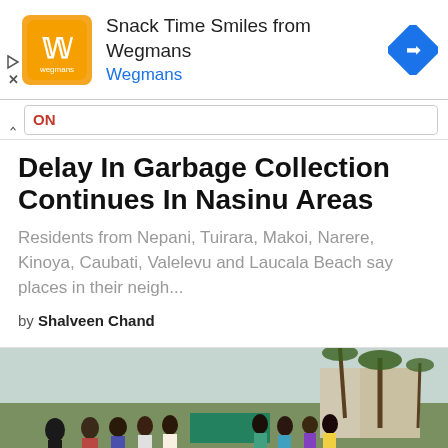[Figure (screenshot): Wegmans advertisement banner with orange logo, 'Snack Time Smiles from Wegmans' text, Wegmans subtitle in blue, and a blue diamond navigation arrow icon on the right. Play and X buttons on the far left.]
ON
Delay In Garbage Collection Continues In Nasinu Areas
Residents from Nepani, Tuirara, Makoi, Narere, Kinoya, Caubati, Valelevu and Laucala Beach say places in their neigh...
by Shalveen Chand
[Figure (photo): Group of people standing outdoors on a dirt area with palm trees and structures in the background, photographed in an overcast day. Appears to be a community gathering or site visit related to the Nasinu garbage collection article.]